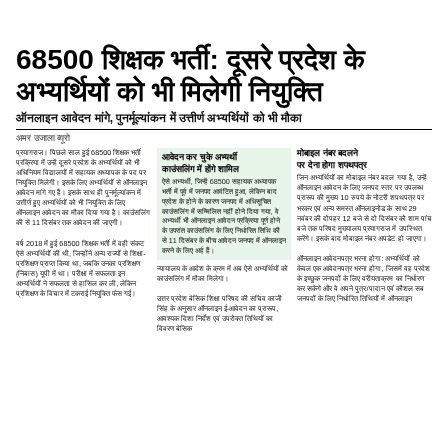68500 शिक्षक भर्ती: दूसरे प्रदेश के अभ्यर्थियों को भी मिलेगी नियुक्ति
ऑनलाइन आवेदन मांगे, पुनर्मूल्यांकन में उत्तीर्ण अभ्यर्थियों को भी मौका
अमर उजाला ब्यूरो
प्रयागराज। पिछले साल हुई 68500 शिक्षक भर्ती प्रक्रिया में उन्हें दूसरे प्रदेश के अभ्यर्थियों को भी अधिनियम विद्यालयों में सहायक अध्यापक के पद पर नियुक्ति मिलेगी। इसके लिए अभ्यर्थियों से ऑनलाइन आवेदन मांगे गए हैं। इसके साथ ही पुनर्मूल्यांकन में उत्तीर्ण हुए अभ्यर्थियों को भी नियुक्ति के लिए ऑनलाइन आवेदन का मौका दिया गया है। काउंसलिंग की से 11 दिसंबर तक आवेदन की जाएगी।
वर्ष 2018 में हुई 68500 शिक्षक भर्ती में वही संकट ऐसे अभ्यर्थियों की थी, जिन्होंने अन्य राज्यों से शिक्षा-प्रशिक्षण प्राप्त किया था, जबकि उनका प्रशिक्षण (निबास) यूपी में था। परीक्षा में सफलता इन अभ्यर्थियों ने सफलता से हासिल कर ली, लेकिन प्रशिक्षण के विचार में टकराई नियुक्ति फंस गई।
आवेदन कर चुके अभ्यर्थी काउंसलिंग में होंगे शामिल
ऐसे अभ्यर्थी, जिन्हें 68500 सहायक अध्यापक भर्ती में पूर्व में जनपद आवंटित हुआ, लेकिन बाद प्रदेश के होने के कारण जनपद में अधिसूचित काउंसलिंग में सम्मिलित नहीं होने दिया गया, वे अभ्यर्थी भी ऑनलाइन आवेदन प्रक्रिया पूर्ण होने के उपरांत काउंसलिंग के लिए निर्धारित तिथि की से 11 दिसंबर के बीच आवेदन जनपद में ऑनलाइन करने के लिए अर्ह हैं।
न्यायालय के आदेश के क्रम में अब ऐसे अभ्यर्थियों को काउंसलिंग में मौका मिलेगा।
उत्तर प्रदेश बेसिक शिक्षा परिषद की सचिव काजी सिंह के अनुसार ऑनलाइन ई-आवेदन का प्रारूप, आवश्यक दिशा निर्देश एवं उपरोक्त तिथियों का विवरण बेसिक
मोबाइल नंबर बदलने पर देना होगा शपथपत्र
जिन अभ्यर्थियों का मोबाइल नंबर बदल गया है, उन्हें ऑनलाइन आवेदन के लिए जनपद स्तर पर उपलब्ध प्रारूप की मुख्य 10 रुपये के नोटरी शपथपत्र पर भरकर एवं अन्य समस्त ऑनलाइनोड के साथ 29 नवंबर की दोपहर 12 बजे से दो दिसंबर को शाम पांच बजे तक परिषद मुख्यालय प्रयागराज में उपस्थित करेंगे। इसके बाद मोबाइल नंबर अपडेट हो जाएगा।
ऑनलाइन आवेदनपत्र भरना होगा: अभ्यर्थियों को केवल एक आवेदनपत्र भरना होगा, जिसमें वह प्रदेश के इच्छुक जनपदों के लिए वरीयताक्रम का निर्धारण कर सकेगे और वे अपने पुत्र/पादान एवं कौशल सब जनपदों के लिए निर्धारित तिथियों में ऑनलाइन